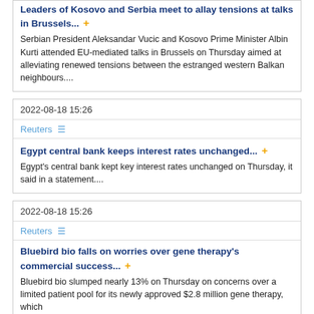Leaders of Kosovo and Serbia meet to allay tensions at talks in Brussels... [plus icon] Serbian President Aleksandar Vucic and Kosovo Prime Minister Albin Kurti attended EU-mediated talks in Brussels on Thursday aimed at alleviating renewed tensions between the estranged western Balkan neighbours....
2022-08-18 15:26
Reuters [list icon]
Egypt central bank keeps interest rates unchanged... [plus icon] Egypt's central bank kept key interest rates unchanged on Thursday, it said in a statement....
2022-08-18 15:26
Reuters [list icon]
Bluebird bio falls on worries over gene therapy's commercial success... [plus icon] Bluebird bio slumped nearly 13% on Thursday on concerns over a limited patient pool for its newly approved $2.8 million gene therapy, which